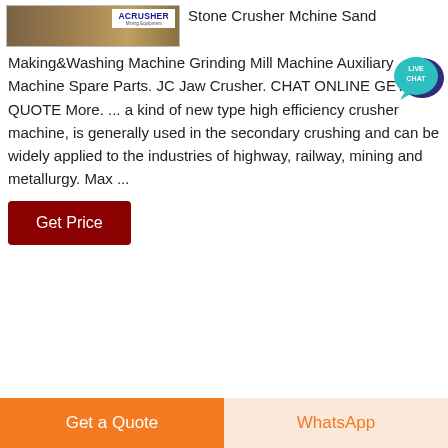[Figure (photo): Product image showing mining/construction site with ACRUSHER Mining Equipment logo overlay]
Stone Crusher Mchine Sand Making&Washing Machine Grinding Mill Machine Auxiliary Machine Spare Parts. JC Jaw Crusher. CHAT ONLINE GET A QUOTE More. ... a kind of new type high efficiency crusher machine, is generally used in the secondary crushing and can be widely applied to the industries of highway, railway, mining and metallurgy. Max ...
[Figure (illustration): Live Chat speech bubble icon in teal/dark blue]
Get Price
Get a Quote
WhatsApp